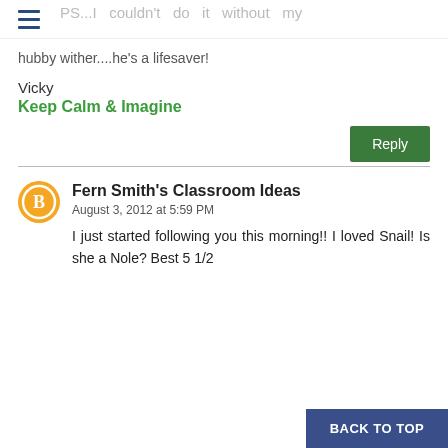PS...I couldn't do it without my hubby wither....he's a lifesaver!
Vicky
Keep Calm & Imagine
Reply
Fern Smith's Classroom Ideas
August 3, 2012 at 5:59 PM
I just started following you this morning!! I loved Snail! Is she a Nole? Best 5 1/2